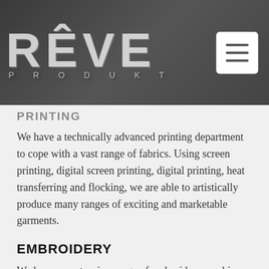[Figure (logo): RÊVE PRODUKT logo in distressed white text on dark gray textured background with hamburger menu icon]
PRINTING
We have a technically advanced printing department to cope with a vast range of fabrics. Using screen printing, digital screen printing, digital printing, heat transferring and flocking, we are able to artistically produce many ranges of exciting and marketable garments.
EMBROIDERY
We have an extensive range of embroidery machines giving us the capability to produce many designs from the simplest to the more complex, which enable us to cope with a quick turnaround on both small and large orders.
WASHING
Understanding that washing is now one of the most important